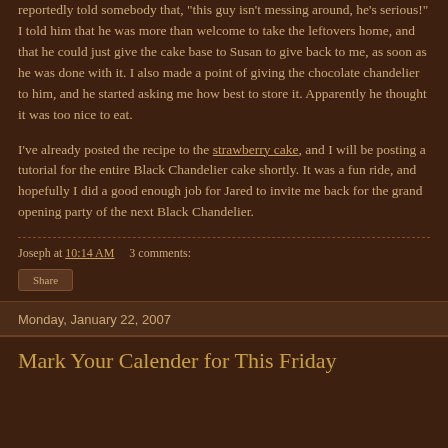reportedly told somebody that, "this guy isn't messing around, he's serious!" I told him that he was more than welcome to take the leftovers home, and that he could just give the cake base to Susan to give back to me, as soon as he was done with it. I also made a point of giving the chocolate chandelier to him, and he started asking me how best to store it. Apparently he thought it was too nice to eat.
I've already posted the recipe to the strawberry cake, and I will be posting a tutorial for the entire Black Chandelier cake shortly. It was a fun ride, and hopefully I did a good enough job for Jared to invite me back for the grand opening party of the next Black Chandelier.
Joseph at 10:14 AM    3 comments:
Share
Monday, January 22, 2007
Mark Your Calender for This Friday